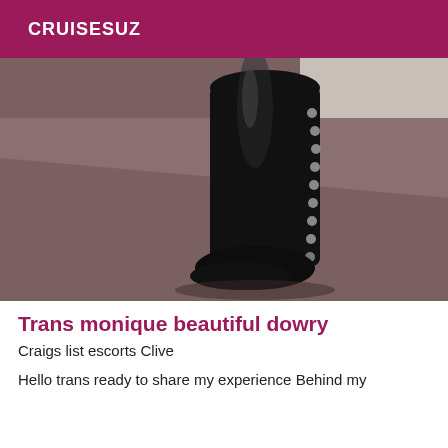CRUISESUZ
[Figure (photo): Photo of a tall black lace-up boot standing upright on a carpeted floor against a white wall]
Trans monique beautiful dowry
Craigs list escorts Clive
Hello trans ready to share my experience Behind my